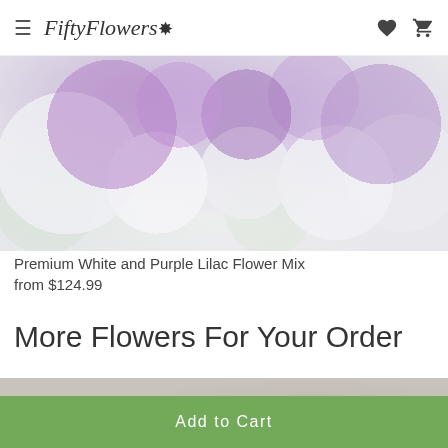FiftyFlowers
[Figure (photo): Close-up photo of white and purple lilac flowers mixed together, soft and dreamy look]
Premium White and Purple Lilac Flower Mix
from $124.99
More Flowers For Your Order
[Figure (photo): Partial photo of flowers, bottom of page, cropped]
Add to Cart